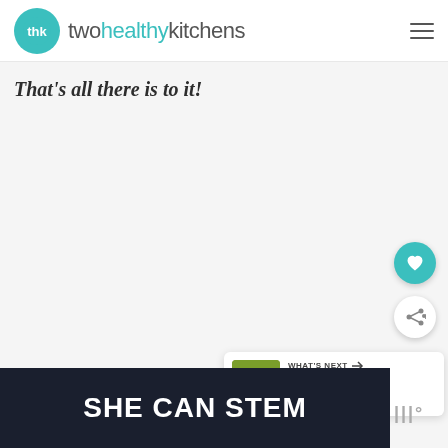twohealthykitchens
That's all there is to it!
[Figure (screenshot): Floating heart/favorite button (teal circle with white heart icon) and share button (white circle with share icon)]
[Figure (infographic): What's Next card with thumbnail of Blistered Shishito peppers and text 'WHAT'S NEXT → Blistered Shishito...']
[Figure (infographic): Dark banner with white bold text 'SHE CAN STEM' and small logo mark on the right]